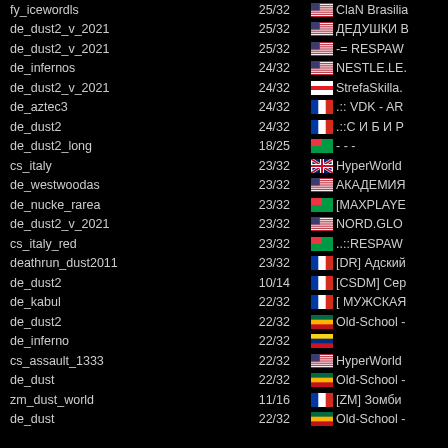fy_icewordls 25/32 ClaN Brasilia
de_dust2_v_2021 25/32 ДЕДУШКИ В
de_dust2_v_2021 25/32 -= RESPAW
de_infernos 24/32 NESTLE.LE.
de_dust2_v_2021 24/32 StrefaSkilla.
de_aztec3 24/32 .:: VDK - AR
de_dust2 24/32 .::С И Б И Р
de_dust2_long 18/25 - - -
cs_italy 23/32 HyperWorld
de_westwoodas 23/32 АКАДЕМИЯ
de_nucke_rarea 23/32 [MAXPLAYE
de_dust2_v_2021 23/32 NORD.GLO
cs_italy_red 23/32 ..::RESPAW
deathrun_dust2011 23/32 [DR] Адский
de_dust2 10/14 [CSDM] Сер
de_kabul 22/32 [ МУЖСКАЯ
de_dust2 22/32 Old-School -
de_inferno 22/32
cs_assault_1333 22/32 HyperWorld
de_dust 22/32 Old-School -
zm_dust_world 11/16 [ZM] Зомби
de_dust 22/32 Old-School -